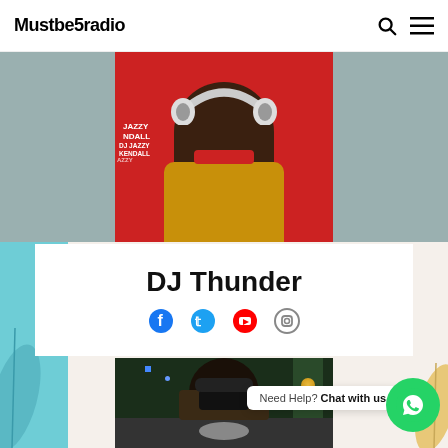Mustbe5radio
[Figure (photo): DJ Jazzy Kendall wearing headphones and yellow sweater, standing in front of a red branded backdrop]
DJ Thunder
[Figure (infographic): Social media icons: Facebook, Twitter, YouTube, Instagram]
[Figure (photo): DJ wearing mask and working on DJ equipment with Christmas decorations in background]
Need Help? Chat with us